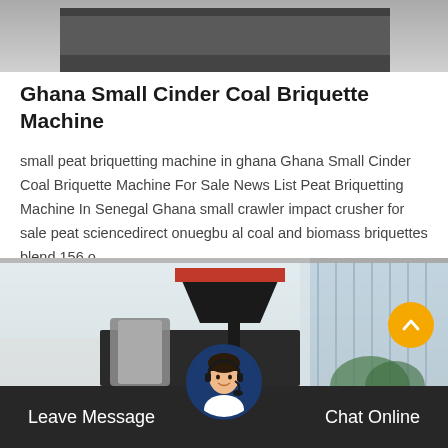[Figure (photo): Top portion of a dark gray industrial machine or equipment, photographed in a warehouse setting]
Ghana Small Cinder Coal Briquette Machine
small peat briquetting machine in ghana Ghana Small Cinder Coal Briquette Machine For Sale News List Peat Briquetting Machine In Senegal Ghana small crawler impact crusher for sale peat sciencedirect onuegbu al coal and biomass briquettes blend 156 o…
[Figure (photo): Industrial coal briquette machine with dark hopper and red top panel, shown in an outdoor warehouse setting with corrugated metal walls]
Leave Message    Chat Online